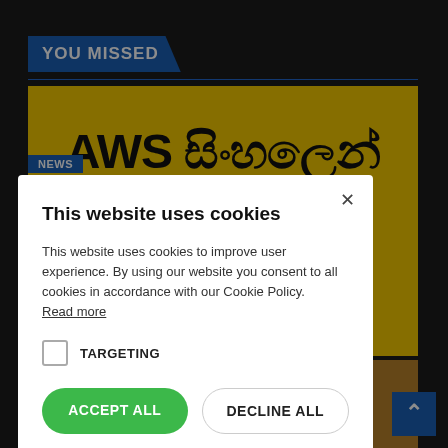YOU MISSED
[Figure (screenshot): AWS card with yellow background showing Sinhala text and subtitle text about Amazon Web Services]
[Figure (screenshot): Cookie consent dialog box overlaying the page content with title 'This website uses cookies', body text, targeting checkbox, and Accept All / Decline All buttons]
has really lost it Hurl